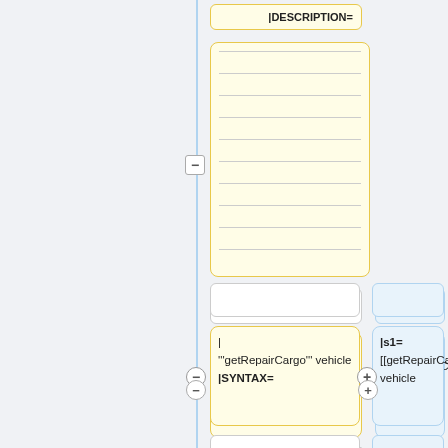[Figure (flowchart): Diff/comparison diagram showing wiki template parameters. Top: |DESCRIPTION= box, large yellow lined area with collapse minus button, then two rows of paired boxes (left yellow, right blue) showing syntax and parameter diffs. Left column shows: |DESCRIPTION=, then lined yellow box, then | '''getRepairCargo''' vehicle |SYNTAX=, then |p1= vehicle: [[Object]] |PARAMETER1=. Right column shows: |s1= [[getRepairCargo]] vehicle and |p1= vehicle: [[Object]]. Minus/plus buttons indicate diff removals and additions.]